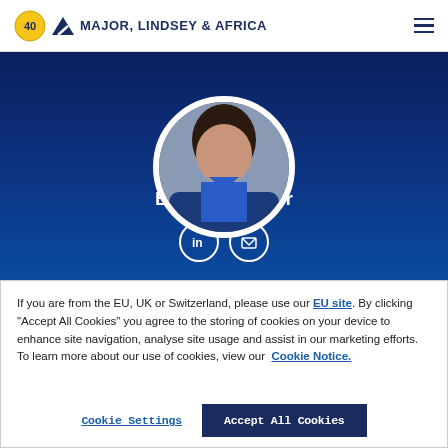MAJOR, LINDSEY & AFRICA
[Figure (photo): Profile photo of Barrett Avigdor in a circular frame on a dark blue gradient background, with LinkedIn and email social icons below]
Barrett Avigdor
If you are from the EU, UK or Switzerland, please use our EU site. By clicking “Accept All Cookies” you agree to the storing of cookies on your device to enhance site navigation, analyse site usage and assist in our marketing efforts. To learn more about our use of cookies, view our Cookie Notice.
Cookie Settings | Accept All Cookies